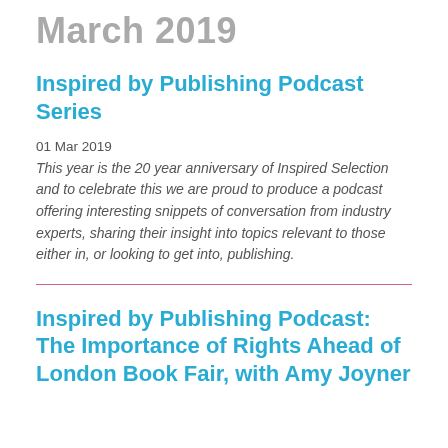March 2019
Inspired by Publishing Podcast Series
01 Mar 2019
This year is the 20 year anniversary of Inspired Selection and to celebrate this we are proud to produce a podcast offering interesting snippets of conversation from industry experts, sharing their insight into topics relevant to those either in, or looking to get into, publishing.
Inspired by Publishing Podcast: The Importance of Rights Ahead of London Book Fair, with Amy Joyner